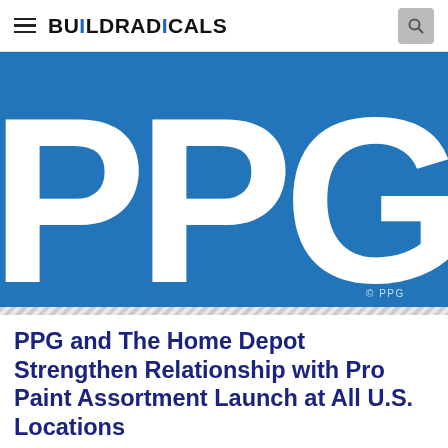BUILDRADICALS
[Figure (logo): PPG logo — large white 'PPG' letters on a blue background with copyright notice '© PPG' in bottom right corner]
PPG and The Home Depot Strengthen Relationship with Pro Paint Assortment Launch at All U.S. Locations